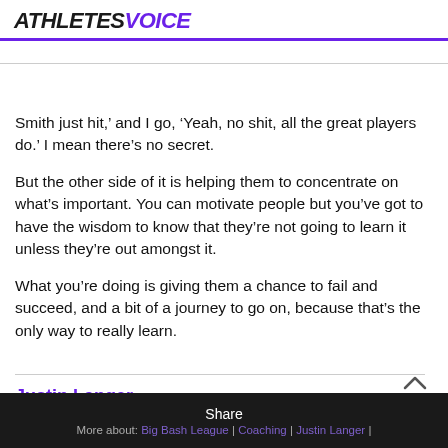ATHLETESVOICE
Smith just hit,' and I go, 'Yeah, no shit, all the great players do.' I mean there's no secret.
But the other side of it is helping them to concentrate on what's important. You can motivate people but you've got to have the wisdom to know that they're not going to learn it unless they're out amongst it.
What you're doing is giving them a chance to fail and succeed, and a bit of a journey to go on, because that's the only way to really learn.
Justin Langer
Share
More about: Big Bash League | Coaching | Justin Langer |